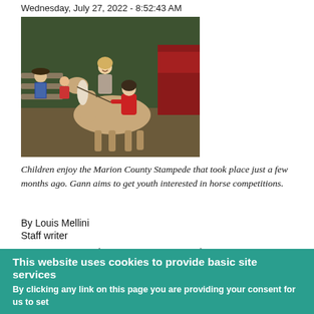Wednesday, July 27, 2022 - 8:52:43 AM
[Figure (photo): Children at a rodeo event with a horse; a girl in a red shirt is on or near the horse, other children and an adult look on in an outdoor arena setting.]
Children enjoy the Marion County Stampede that took place just a few months ago. Gann aims to get youth interested in horse competitions.
By Louis Mellini
Staff writer
HAMILTON — After the massive success of the Marion County Stampede just a few months ago, county resident Jamie Gann plans to bring more horse events on a more regular basis to the youth and other residents of Marion County.
This website uses cookies to provide basic site services
By clicking any link on this page you are providing your consent for us to set cookies. More information